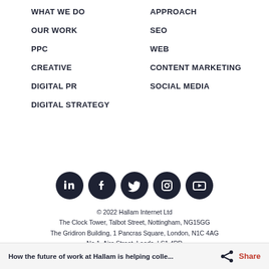WHAT WE DO
APPROACH
OUR WORK
SEO
PPC
WEB
CREATIVE
CONTENT MARKETING
DIGITAL PR
SOCIAL MEDIA
DIGITAL STRATEGY
[Figure (infographic): Five social media icons (LinkedIn, Facebook, Twitter, Instagram, YouTube) as white icons on dark circular backgrounds]
© 2022 Hallam Internet Ltd
The Clock Tower, Talbot Street, Nottingham, NG15GG
The Gridiron Building, 1 Pancras Square, London, N1C 4AG
No.1, Aire Street, Leeds, LS1 4PR
Company No. 03989628. All rights reserved.
How the future of work at Hallam is helping colle...    Share